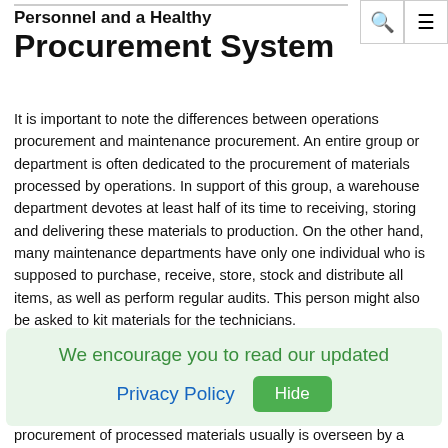🔍 ≡
Personnel and a Healthy Procurement System
It is important to note the differences between operations procurement and maintenance procurement. An entire group or department is often dedicated to the procurement of materials processed by operations. In support of this group, a warehouse department devotes at least half of its time to receiving, storing and delivering these materials to production. On the other hand, many maintenance departments have only one individual who is supposed to purchase, receive, store, stock and distribute all items, as well as perform regular audits. This person might also be asked to kit materials for the technicians.
In addition, maintenance procurement is associated with...
[Figure (infographic): Cookie/privacy policy banner with green background. Text: 'We encourage you to read our updated' in green, 'Privacy Policy' as a blue link, and a green 'Hide' button.]
procurement of processed materials usually is overseen by a